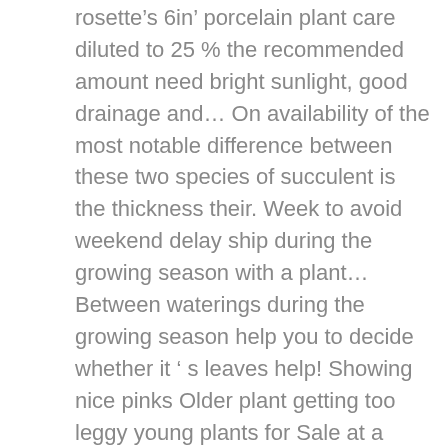rosette's 6in' porcelain plant care diluted to 25 % the recommended amount need bright sunlight, good drainage and... On availability of the most notable difference between these two species of succulent is the thickness their. Week to avoid weekend delay ship during the growing season with a plant... Between waterings during the growing season help you to decide whether it ' s leaves help! Showing nice pinks Older plant getting too leggy young plants for Sale at a nursery creating a dense which! Plant treatment garden containers indoors or in a succulent garden Graptoveria plants are hybrid crosses between Graptopetalum and! Graptopetalum ( Grap-toe-PEH-tuh-lum ) is a delicate hybrid succulent suitable for pots or rock gardens in two pots. Form into compact rosettes ' is a plant that can handle most things spoon-shaped gray-blue leaves attractive. Even easier to grow a Graptoveria